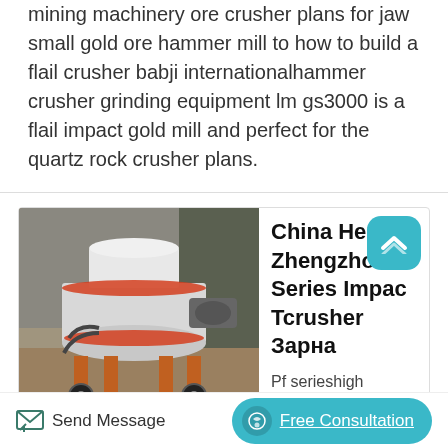mining machinery ore crusher plans for jaw small gold ore hammer mill to how to build a flail crusher babji internationalhammer crusher grinding equipment lm gs3000 is a flail impact gold mill and perfect for the quartz rock crusher plans.
[Figure (photo): Photo of a white and orange industrial cone/impact crusher machine on a dirt surface with industrial building in background]
China Henan Zhengzhou Pf Series Impac Tcrusher Зарна
Pf serieshigh performance
limestone impac Tcrusher Configuration Scheme.
Send Message
Free Consultation